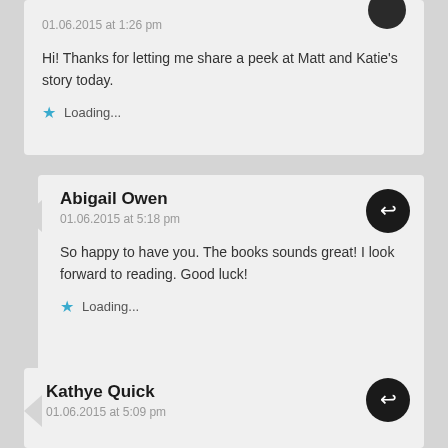01.06.2015 at 1:26 pm
Hi! Thanks for letting me share a peek at Matt and Katie's story today.
Loading...
Abigail Owen
01.06.2015 at 5:18 pm
So happy to have you. The books sounds great! I look forward to reading. Good luck!
Loading...
Kathye Quick
01.06.2015 at 5:09 pm